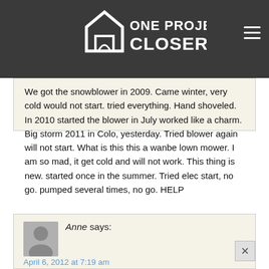One Project Closer
We got the snowblower in 2009. Came winter, very cold would not start. tried everything. Hand shoveled. In 2010 started the blower in July worked like a charm. Big storm 2011 in Colo, yesterday. Tried blower again will not start. What is this this a wanbe lown mower. I am so mad, it get cold and will not work. This thing is new. started once in the summer. Tried elec start, no go. pumped several times, no go. HELP
Anne says:
April 6, 2012 at 7:19 am
Last snow storm I ran my snow blower out of gas